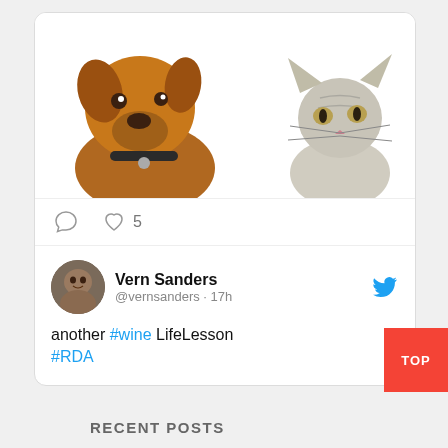[Figure (photo): Card with a dog and cat photo at top, action icons (comment, heart with 5 likes) below]
♡ 5
Vern Sanders @vernsanders · 17h
another #wine LifeLesson #RDA
TOP
RECENT POSTS